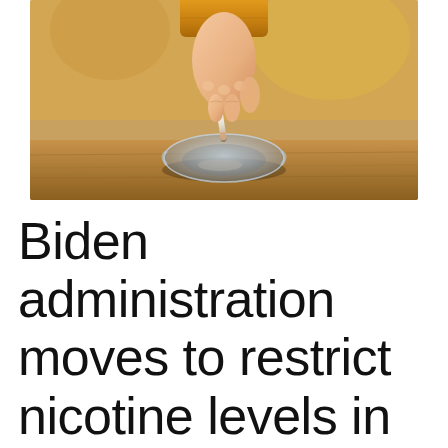[Figure (photo): Close-up photograph of a hand (wearing a yellow sleeve) holding a cigarette in a glass ashtray on a wooden table surface, with smoke wisps rising from the cigarette]
Biden administration moves to restrict nicotine levels in tobacco products